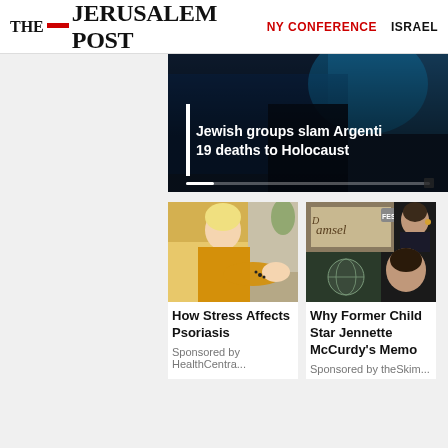THE JERUSALEM POST | NY CONFERENCE | ISRAEL
[Figure (photo): Hero news image with headline overlay: Jewish groups slam Argenti... 19 deaths to Holocaust]
[Figure (photo): Woman in yellow sweater examining her arm - psoriasis article image]
How Stress Affects Psoriasis
Sponsored by HealthCentra...
[Figure (photo): Two-panel image: movie poster for Damsel and woman at event - Jennette McCurdy article]
Why Former Child Star Jennette McCurdy's Memo
Sponsored by theSkim...